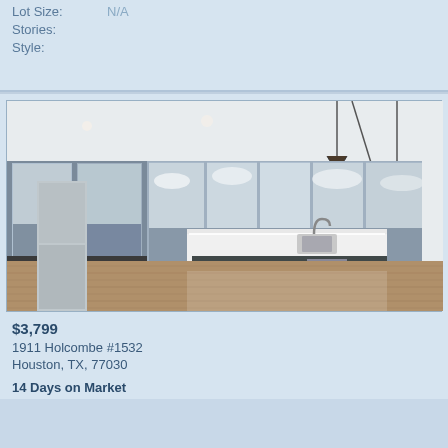Lot Size: N/A
Stories:
Style:
[Figure (photo): Interior photo of a modern high-rise apartment with open kitchen featuring a large white island with sink, pendant lights, hardwood floors, and floor-to-ceiling windows with city skyline views]
$3,799
1911 Holcombe #1532
Houston, TX, 77030
14 Days on Market